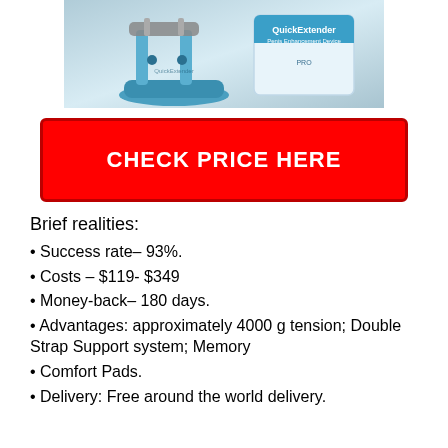[Figure (photo): Blue QuickExtender Pro device with two metal rods and a blue base, next to product packaging box with QuickExtender Pro branding]
CHECK PRICE HERE
Brief realities:
Success rate– 93%.
Costs – $119- $349
Money-back– 180 days.
Advantages: approximately 4000 g tension; Double Strap Support system; Memory
Comfort Pads.
Delivery: Free around the world delivery.